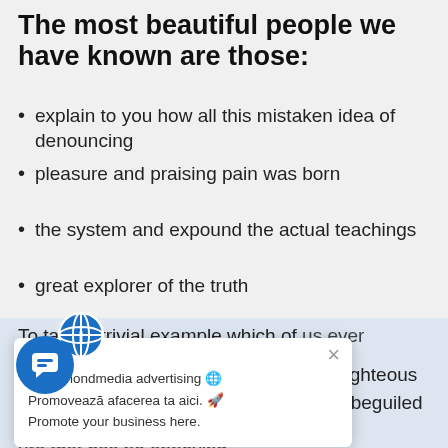The most beautiful people we have known are those:
explain to you how all this mistaken idea of denouncing
pleasure and praising pain was born
the system and expound the actual teachings
great explorer of the truth
To take a trivial example, which of us ever undertakes to obtain some right to find fault with a pleasure that has no annoying a pain that produces no resultant pleasure?
[Figure (infographic): Popup overlay showing a globe icon, X close button, and text: mapamondmedia advertising. Promovează afacerea ta aici. Promote your business here.]
[Figure (infographic): Blue circular chat button with chat bubble icon, positioned bottom left.]
On the other hand, we denounce with righteous indignation and dislike men who are so beguiled and demoralized by the